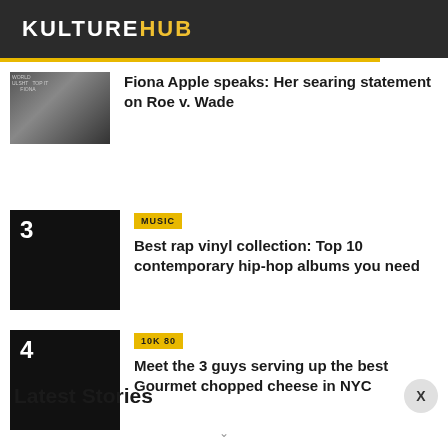KULTUREHUB
Fiona Apple speaks: Her searing statement on Roe v. Wade
[Figure (photo): Thumbnail image for Fiona Apple article showing album covers]
3 — MUSIC — Best rap vinyl collection: Top 10 contemporary hip-hop albums you need
4 — 10K 80 — Meet the 3 guys serving up the best Gourmet chopped cheese in NYC
Latest Stories